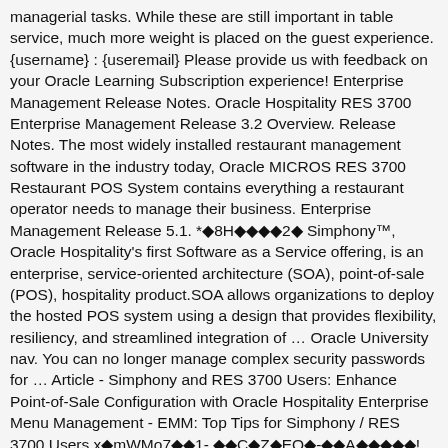managerial tasks. While these are still important in table service, much more weight is placed on the guest experience. {username} : {useremail} Please provide us with feedback on your Oracle Learning Subscription experience! Enterprise Management Release Notes. Oracle Hospitality RES 3700 Enterprise Management Release 3.2 Overview. Release Notes. The most widely installed restaurant management software in the industry today, Oracle MICROS RES 3700 Restaurant POS System contains everything a restaurant operator needs to manage their business. Enterprise Management Release 5.1. *◆8H◆◆◆◆2◆ Simphony™, Oracle Hospitality's first Software as a Service offering, is an enterprise, service-oriented architecture (SOA), point-of-sale (POS), hospitality product.SOA allows organizations to deploy the hosted POS system using a design that provides flexibility, resiliency, and streamlined integration of … Oracle University nav. You can no longer manage complex security passwords for … Article - Simphony and RES 3700 Users: Enhance Point-of-Sale Configuration with Oracle Hospitality Enterprise Menu Management - EMM: Top Tips for Simphony / RES 3700 Users x◆mWMo7◆◆1- ◆◆C◆Z◆EQ◆-◆◆A◆◆◆◆◆!◆◆ofH.◆$:8◆◆|◆p◆◆x◆◆;◆ä9]◆◆◆7yŸK!b◆◆◆◆◆◆xo~◆ ◆◆◆1◆U}K69＃◆◆s-◆◆◆o◆◆◆◆◆◆Wu◆◆◆X3F◆k3◆R◆◆y◆wpn◆◆9◆◆ed◆◆◆? The backdoor — dubbed "ModPipe" — impacts Oracle MICROS Restaurant Enterprise Series (RES) 3700 POS